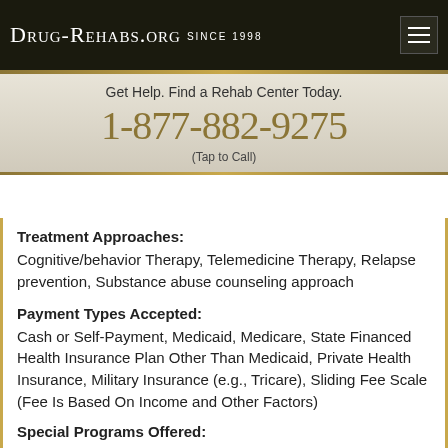Drug-Rehabs.org Since 1998
Get Help. Find a Rehab Center Today.
1-877-882-9275
(Tap to Call)
Treatment Approaches:
Cognitive/behavior Therapy, Telemedicine Therapy, Relapse prevention, Substance abuse counseling approach
Payment Types Accepted:
Cash or Self-Payment, Medicaid, Medicare, State Financed Health Insurance Plan Other Than Medicaid, Private Health Insurance, Military Insurance (e.g., Tricare), Sliding Fee Scale (Fee Is Based On Income and Other Factors)
Special Programs Offered:
Adolescents, Comprehensive substance abuse assessment, Drug or alcohol urine screening,